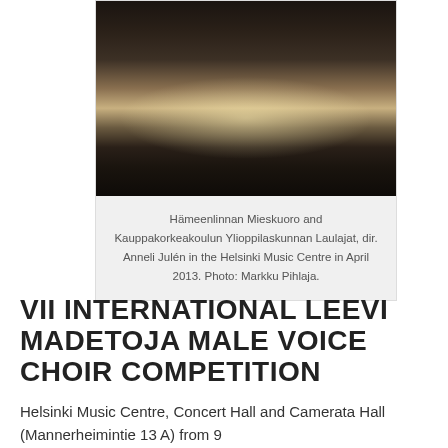[Figure (photo): A male voice choir performing on a large concert hall stage, with rows of singers in formal attire and a conductor at a podium, audience visible in the foreground.]
Hämeenlinnan Mieskuoro and Kauppakorkeakoulun Ylioppilaskunnan Laulajat, dir. Anneli Julén in the Helsinki Music Centre in April 2013. Photo: Markku Pihlaja.
VII INTERNATIONAL LEEVI MADETOJA MALE VOICE CHOIR COMPETITION
Helsinki Music Centre, Concert Hall and Camerata Hall (Mannerheimintie 13 A) from 9